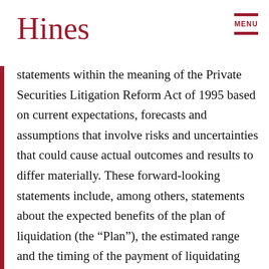Hines
statements within the meaning of the Private Securities Litigation Reform Act of 1995 based on current expectations, forecasts and assumptions that involve risks and uncertainties that could cause actual outcomes and results to differ materially. These forward-looking statements include, among others, statements about the expected benefits of the plan of liquidation (the “Plan”), the estimated range and the timing of the payment of liquidating distributions, the expected timing and completion of the Plan, the return to be achieved by shareholders and the future business, performance and opportunities of Hines REIT. Forward-looking statements